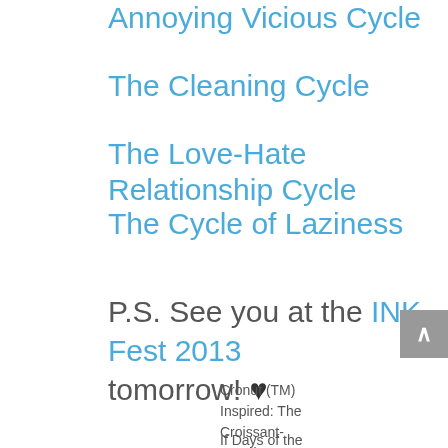Annoying Vicious Cycle
The Cleaning Cycle
The Love-Hate Relationship Cycle
The Cycle of Laziness
P.S. See you at the INK Fest 2013 tomorrow! ♥
Cronut (TM) Inspired: The Croissant-Doughnut Recipe
If Days of the